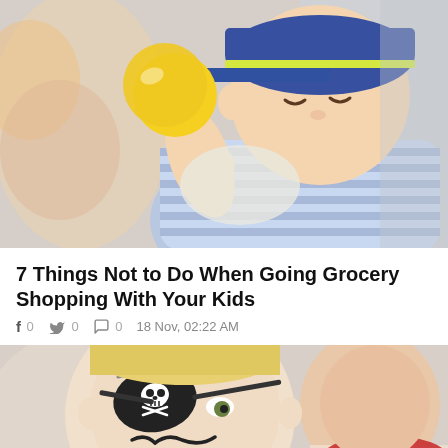[Figure (photo): Baby boy in striped shirt and blue cap holding a lemon/orange at a grocery store, looking at the fruit closely]
7 Things Not to Do When Going Grocery Shopping With Your Kids
f 0  y 0  0  18 Nov, 02:22 AM
[Figure (photo): Two children with pirate face paint, one with an eye patch with skull and crossbones, looking downward]